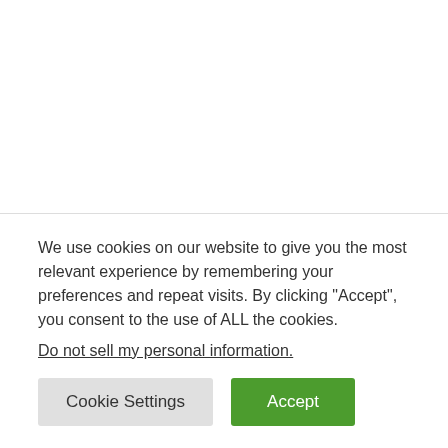“Denying it is lame! I have no intention to hide my nose job”
She added
We use cookies on our website to give you the most relevant experience by remembering your preferences and repeat visits. By clicking “Accept”, you consent to the use of ALL the cookies.
Do not sell my personal information.
Cookie Settings
Accept